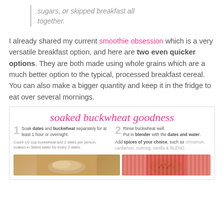sugars, or skipped breakfast all together.
I already shared my current smoothie obsession which is a very versatile breakfast option, and here are two even quicker options. They are both made using whole grains which are a much better option to the typical, processed breakfast cereal. You can also make a bigger quantity and keep it in the fridge to eat over several mornings.
[Figure (infographic): Infographic titled 'soaked buckwheat goodness' showing two steps: Step 1 - Soak dates and buckwheat separately for at least 1 hour or overnight. Count 1/2 cup buckwheat and 2 dates per person, soaked in 300ml water for every 2 dates. Step 2 - Rinse buckwheat well. Put in blender with the dates and water. Add spices of your choice, such as cinnamon, cardamon, nutmeg, vanilla & BLEND. Photos show finished product and raw buckwheat in a bowl.]